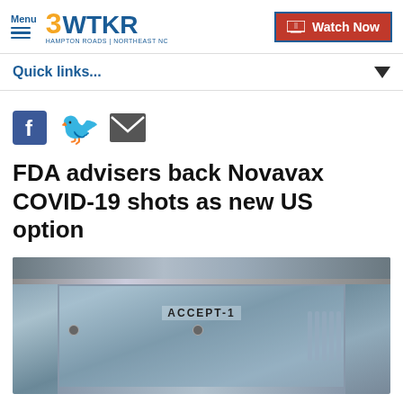3WTKR Hampton Roads | Northeast NC — Watch Now
Quick links...
[Figure (other): Social share icons: Facebook, Twitter, Email]
FDA advisers back Novavax COVID-19 shots as new US option
[Figure (photo): Pharmaceutical manufacturing machine with ACCEPT-1 label visible]